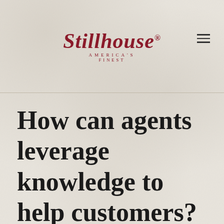[Figure (logo): Stillhouse America's Finest logo in dark red/maroon italic script font with registered trademark symbol]
How can agents leverage knowledge to help customers?